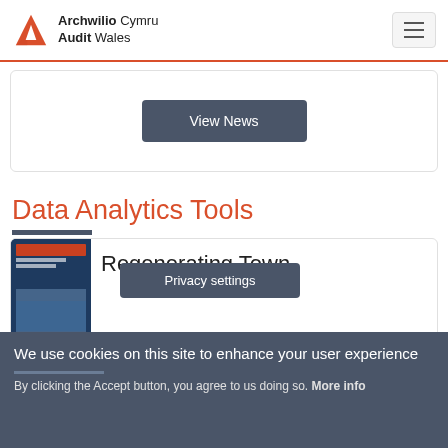Archwilio Cymru Audit Wales
View News
Data Analytics Tools
[Figure (photo): Thumbnail image of the 'Regenerating Town Centres in Wales' report cover]
Regenerating Town C...
Privacy settings
We use cookies on this site to enhance your user experience
By clicking the Accept button, you agree to us doing so. More info